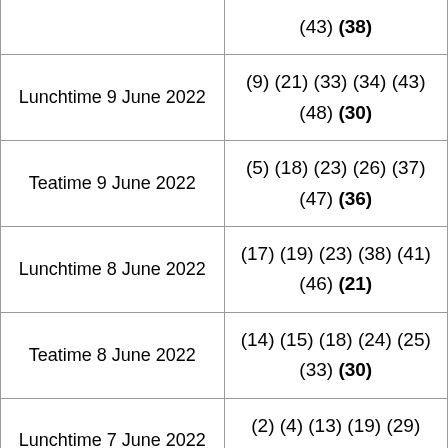| Draw | Numbers |
| --- | --- |
|  | (43) (38) |
| Lunchtime 9 June 2022 | (9) (21) (33) (34) (43) (48) (30) |
| Teatime 9 June 2022 | (5) (18) (23) (26) (37) (47) (36) |
| Lunchtime 8 June 2022 | (17) (19) (23) (38) (41) (46) (21) |
| Teatime 8 June 2022 | (14) (15) (18) (24) (25) (33) (30) |
| Lunchtime 7 June 2022 | (2) (4) (13) (19) (29) (36) (6) |
| Teatime 7 June 2022 | (6) (13) (15) (23) (26) (42) (14) |